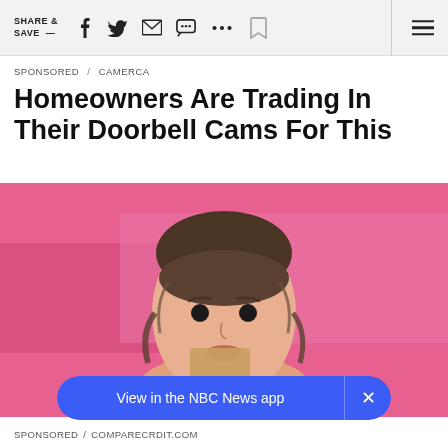SHARE & SAVE —
SPONSORED / CAMERCA
Homeowners Are Trading In Their Doorbell Cams For This
[Figure (photo): Young woman with bangs and updo hair smiling, holding a tan/gold card in front of her chin, wearing an orange top, with a pink background]
View in the NBC News app
SPONSORED / COMPARECRDIT.COM